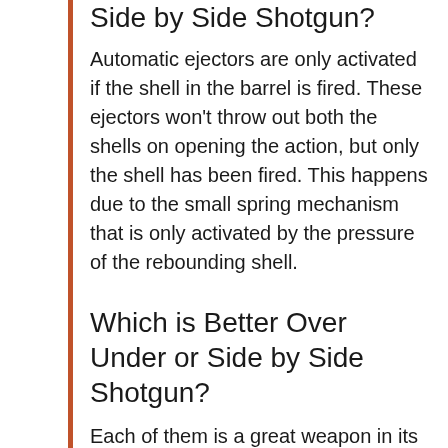Side by Side Shotgun?
Automatic ejectors are only activated if the shell in the barrel is fired. These ejectors won't throw out both the shells on opening the action, but only the shell has been fired. This happens due to the small spring mechanism that is only activated by the pressure of the rebounding shell.
Which is Better Over Under or Side by Side Shotgun?
Each of them is a great weapon in its own place. SxS shotguns have a wider sight plane, are easier to reload, and can allow you to fire both barrels at once. Whereas o/u's are more compact, better balanced,